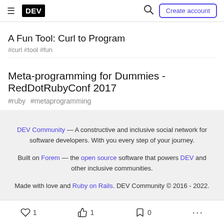DEV — Create account
A Fun Tool: Curl to Program
#curl  #tool  #fun
Meta-programming for Dummies - RedDotRubyConf 2017
#ruby  #metaprogramming
DEV Community — A constructive and inclusive social network for software developers. With you every step of your journey. Built on Forem — the open source software that powers DEV and other inclusive communities. Made with love and Ruby on Rails. DEV Community © 2016 - 2022.
1  1  0  ...